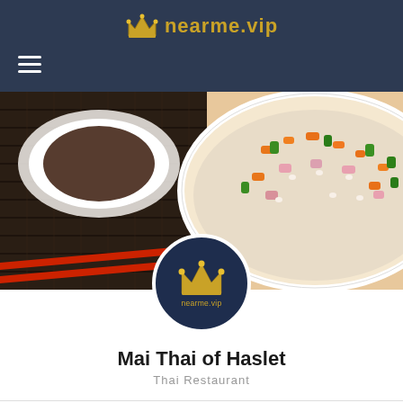[Figure (logo): nearme.vip logo with golden crown icon and text in dark navy navigation bar]
[Figure (photo): Close-up food photo showing a bowl of Thai fried rice with vegetables including carrots, green peppers, and pink ham, alongside a dark sauce dish on a bamboo mat background]
[Figure (logo): nearme.vip circular profile logo with navy background, golden crown icon, and 'nearme.vip' text]
Mai Thai of Haslet
Thai Restaurant